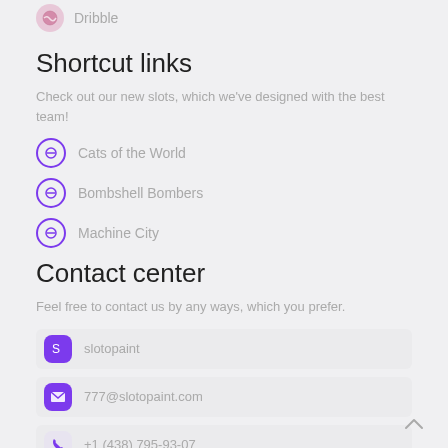Dribble
Shortcut links
Check out our new slots, which we've designed with the best team!
Cats of the World
Bombshell Bombers
Machine City
Contact center
Feel free to contact us by any ways, which you prefer.
slotopaint
777@slotopaint.com
+1 (438) 795-93-07